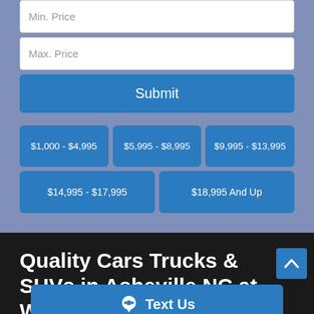Min. Price
Max. Price
Submit
$1,000 - $4,995
$5,995 - $8,995
$9,995 - $13,995
$14,995 - $17,995
$18,995 And Up
Quality Cars Trucks & SUVs in Asheville NC at West Ridge Auto S...
Text Us